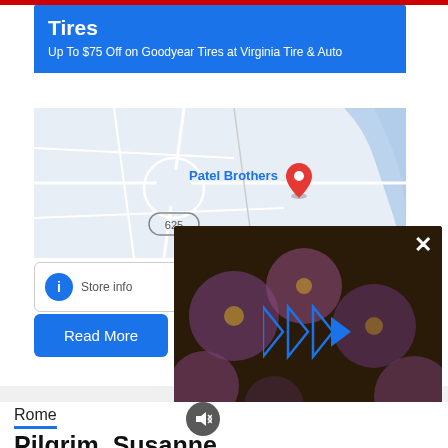[Figure (screenshot): Blue advertisement banner for Goodyear Tires promotion: 'Up To $75 Off on Goodyear Tires at Virginia Tire & Auto']
[Figure (map): Google Maps view showing Patel Brothers location with red pin marker and road 625]
[Figure (screenshot): Map UI buttons: Store info button and Directions button]
Read More
[Figure (screenshot): Video overlay with floral background (purple/pink flowers), play button icon, close X button, and mute icon]
Rome
Pilgrim, Susanne
August 9, 2022   funeral.com